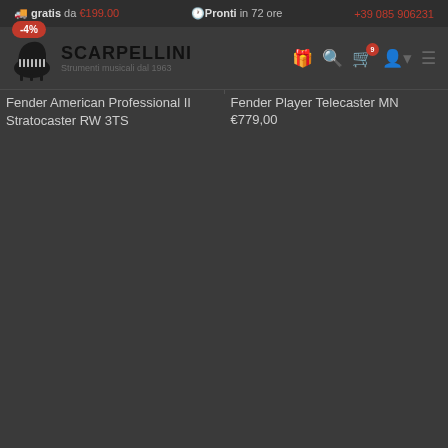🚚 gratis da €199.00   🕐 Pronti in 72 ore   +39 085 906231
[Figure (logo): Scarpellini logo with grand piano icon and text 'SCARPELLINI Strumenti musicali dal 1963']
[Figure (photo): Fender American Professional II Stratocaster RW 3TS - sunburst electric guitar with -4% badge]
Fender American Professional II Stratocaster RW 3TS
[Figure (photo): Fender Player Telecaster MN - blonde/natural electric guitar]
Fender Player Telecaster MN €779.00